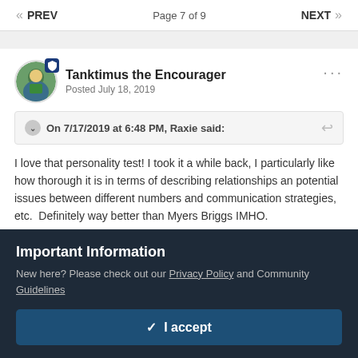« PREV   Page 7 of 9   NEXT »
Tanktimus the Encourager
Posted July 18, 2019
On 7/17/2019 at 6:48 PM, Raxie said:
I love that personality test! I took it a while back, I particularly like how thorough it is in terms of describing relationships an potential issues between different numbers and communication strategies, etc.  Definitely way better than Myers Briggs IMHO.
Important Information
New here? Please check out our Privacy Policy and Community Guidelines
✓  I accept